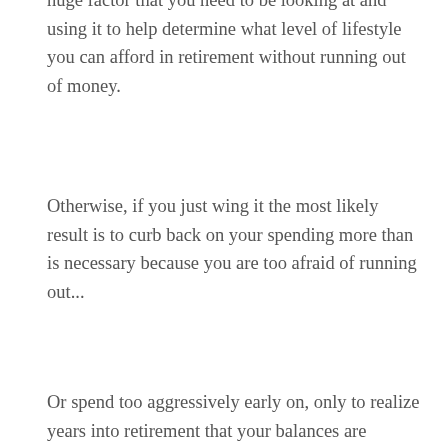huge factor that you need to be looking at and using it to help determine what level of lifestyle you can afford in retirement without running out of money.
Otherwise, if you just wing it the most likely result is to curb back on your spending more than is necessary because you are too afraid of running out...
Or spend too aggressively early on, only to realize years into retirement that your balances are getting lower than you feel comfortable with and then being forced to cut back or else you may completely run out of money before retirement is over.
Well, if you'd rather avoid either of those bad options... having a retirement income replacement